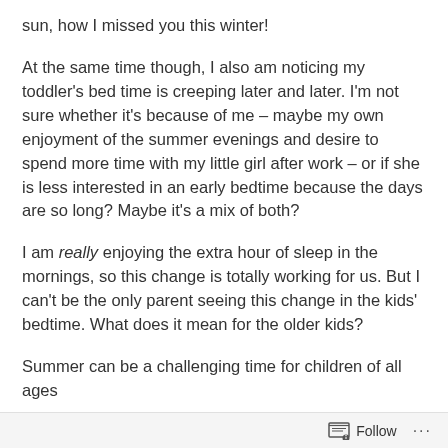sun, how I missed you this winter!
At the same time though, I also am noticing my toddler's bed time is creeping later and later. I'm not sure whether it's because of me – maybe my own enjoyment of the summer evenings and desire to spend more time with my little girl after work – or if she is less interested in an early bedtime because the days are so long? Maybe it's a mix of both?
I am really enjoying the extra hour of sleep in the mornings, so this change is totally working for us. But I can't be the only parent seeing this change in the kids' bedtime. What does it mean for the older kids?
Summer can be a challenging time for children of all ages
Follow ···